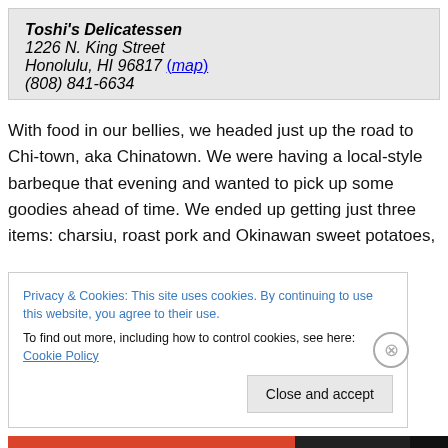Toshi's Delicatessen
1226 N. King Street
Honolulu, HI 96817 (map)
(808) 841-6634
With food in our bellies, we headed just up the road to Chi-town, aka Chinatown. We were having a local-style barbeque that evening and wanted to pick up some goodies ahead of time. We ended up getting just three items: charsiu, roast pork and Okinawan sweet potatoes,
Privacy & Cookies: This site uses cookies. By continuing to use this website, you agree to their use. To find out more, including how to control cookies, see here: Cookie Policy
Close and accept